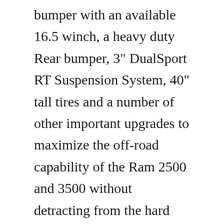bumper with an available 16.5 winch, a heavy duty Rear bumper, 3" DualSport RT Suspension System, 40" tall tires and a number of other important upgrades to maximize the off-road capability of the Ram 2500 and 3500 without detracting from the hard working nature of these trucks.Mar 18, 2017 · While AEV products can be purchased separately, a Prospector is hand-built by AEV and sold directly through Dodge dealerships. Pricing for the AEV 20